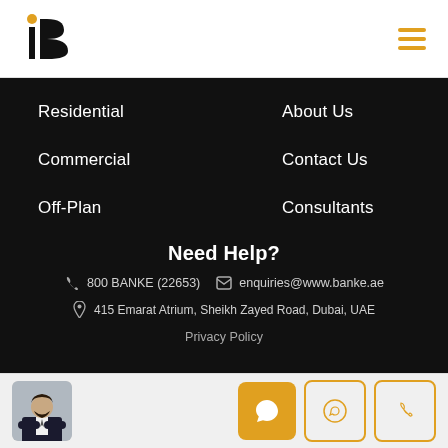[Figure (logo): Banke International Properties logo — stylized letter B with gold dot above i, black and gold colors]
[Figure (other): Hamburger menu icon — three horizontal gold lines]
Residential
About Us
Commercial
Contact Us
Off-Plan
Consultants
Need Help?
800 BANKE (22653)  enquiries@www.banke.ae
415 Emarat Atrium, Sheikh Zayed Road, Dubai, UAE
Privacy Policy
[Figure (photo): Agent photo — man in dark suit with arms crossed]
[Figure (other): Three action buttons: chat (gold filled), WhatsApp (gold outline), phone (gold outline)]